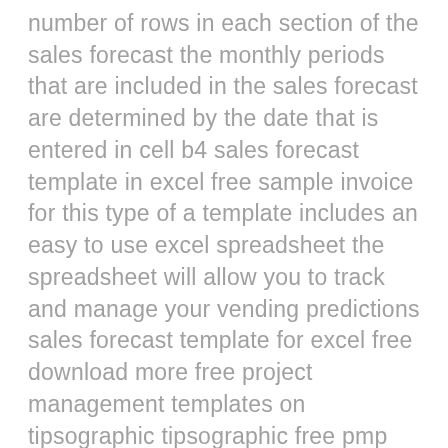number of rows in each section of the sales forecast the monthly periods that are included in the sales forecast are determined by the date that is entered in cell b4 sales forecast template in excel free sample invoice for this type of a template includes an easy to use excel spreadsheet the spreadsheet will allow you to track and manage your vending predictions sales forecast template for excel free download more free project management templates on tipsographic tipsographic free pmp certification online training · project management tools · agile templates free sales forecasting template boost sales with free forecasting templates before spending a cent on crm tools try out this free and effective sales forecasting template excel skills this free template forms part of our unique range of innovative excel templates which features accounting in excel cash flow projections